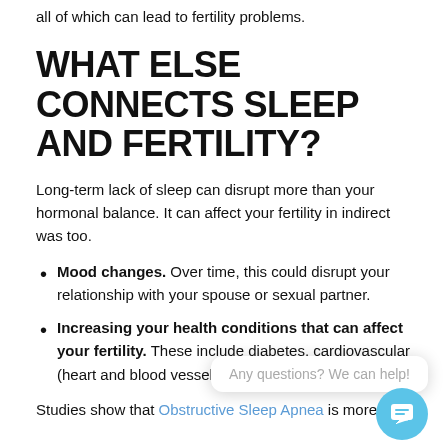all of which can lead to fertility problems.
WHAT ELSE CONNECTS SLEEP AND FERTILITY?
Long-term lack of sleep can disrupt more than your hormonal balance. It can affect your fertility in indirect was too.
Mood changes. Over time, this could disrupt your relationship with your spouse or sexual partner.
Increasing your health conditions that can affect your fertility. These include diabetes, cardiovascular (heart and blood vessels) disease and obesity.
Studies show that Obstructive Sleep Apnea is more common among infertile women and in some cases, the